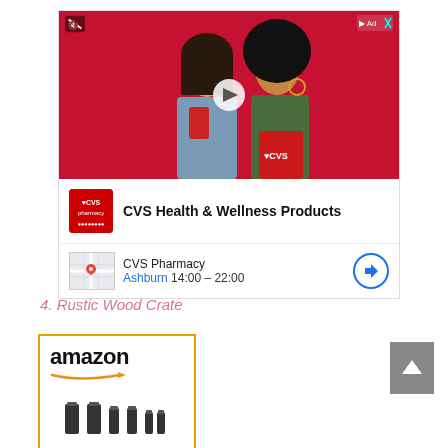[Figure (photo): CVS Health advertisement with video player showing two women smiling against a red background with CVS branding. Contains mute icon, ad controls, and play button overlay.]
CVS Health & Wellness Products
CVS Pharmacy
Ashburn 14:00 – 22:00
4. Rustic Wood Crate
[Figure (photo): Amazon product listing showing a rustic wood crate product with Amazon logo and orange arrow, product image partially visible at bottom.]